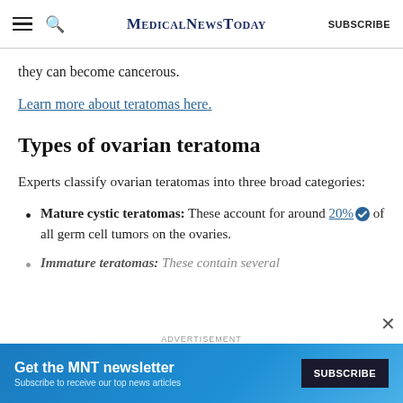MedicalNewsToday | SUBSCRIBE
they can become cancerous.
Learn more about teratomas here.
Types of ovarian teratoma
Experts classify ovarian teratomas into three broad categories:
Mature cystic teratomas: These account for around 20% of all germ cell tumors on the ovaries.
Immature teratomas: These contain several